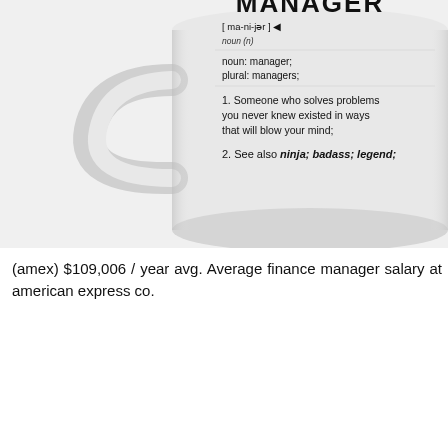[Figure (photo): A white ceramic coffee mug with a dictionary-style 'MANAGER' definition printed on it. The visible text reads: [ ma-ni-jər ] with a play/forward arrow, noun (n), noun: manager; plural: managers; 1. Someone who solves problems you never knew existed in ways that will blow your mind; 2. See also ninja; badass; legend;]
(amex) $109,006 / year avg. Average finance manager salary at american express co.